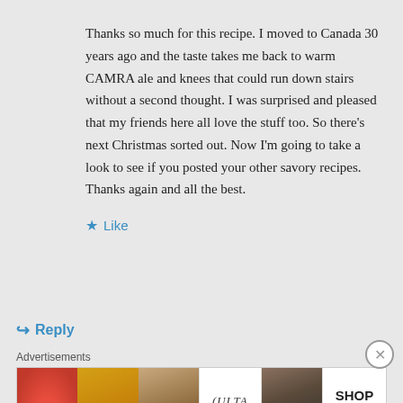Thanks so much for this recipe. I moved to Canada 30 years ago and the taste takes me back to warm CAMRA ale and knees that could run down stairs without a second thought. I was surprised and pleased that my friends here all love the stuff too. So there’s next Christmas sorted out. Now I’m going to take a look to see if you posted your other savory recipes. Thanks again and all the best.
★ Like
↳ Reply
Advertisements
[Figure (photo): ULTA Beauty advertisement banner with makeup imagery including lips, brush, eyes, ULTA logo, smoky eyes, and SHOP NOW call to action]